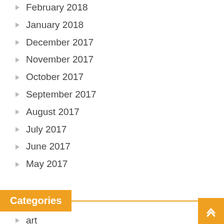February 2018
January 2018
December 2017
November 2017
October 2017
September 2017
August 2017
July 2017
June 2017
May 2017
Categories
art